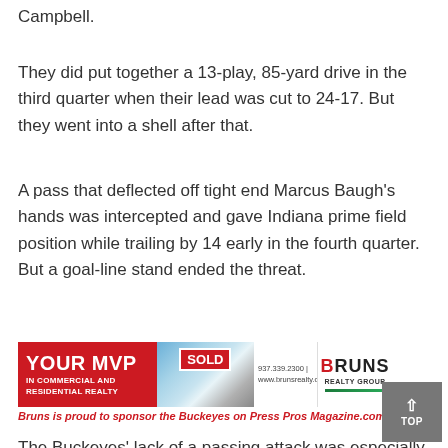Campbell.
They did put together a 13-play, 85-yard drive in the third quarter when their lead was cut to 24-17. But they went into a shell after that.
A pass that deflected off tight end Marcus Baugh's hands was intercepted and gave Indiana prime field position while trailing by 14 early in the fourth quarter. But a goal-line stand ended the threat.
[Figure (other): Bruns Realty Group advertisement with red background, 'YOUR MVP IN COMMERCIAL AND RESIDENTIAL REALTY' text, a house photo with SOLD sign, phone number 937.339.2300 and website www.brunsrealty.com, and Bruns Realty Group logo]
Bruns is proud to sponsor the Buckeyes on Press Pros Magazine.com
The Buckeyes' lack of a passing attack was especially alarming. Barrett finished 9-for-21 for 93 yards with one TD and one interception.